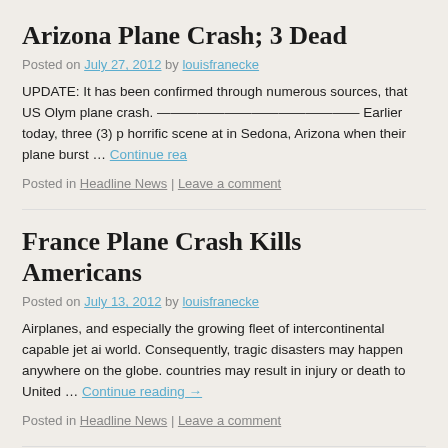Arizona Plane Crash; 3 Dead
Posted on July 27, 2012 by louisfranecke
UPDATE:  It has been confirmed through numerous sources, that US Olym plane crash. ——————————————— Earlier today, three (3) p horrific scene at in Sedona, Arizona when their plane burst … Continue rea
Posted in Headline News | Leave a comment
France Plane Crash Kills Americans
Posted on July 13, 2012 by louisfranecke
Airplanes, and especially the growing fleet of intercontinental capable jet ai world. Consequently, tragic disasters may happen anywhere on the globe. countries may result in injury or death to United … Continue reading →
Posted in Headline News | Leave a comment
Nigeria Plane Crash Boeing Airplane